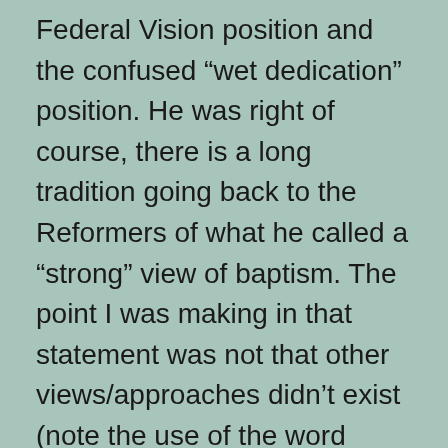Federal Vision position and the confused “wet dedication” position. He was right of course, there is a long tradition going back to the Reformers of what he called a “strong” view of baptism. The point I was making in that statement was not that other views/approaches didn’t exist (note the use of the word ‘recover’) but rather that the Federal Visionist debate arose partly out of a concern that paedo-baptists had lost their way a little. Certainly, my experience up until about 10 years ago was that Anglican Evangelicals I encountered were generally uncertain about why they baptised